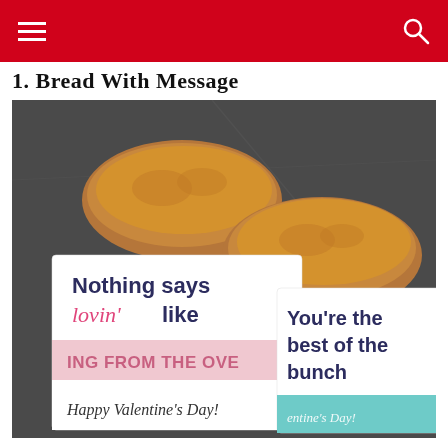1. Bread With Message
[Figure (photo): Two loaves of bread wrapped in decorative Valentine's Day labels. The left wrap reads 'Nothing says lovin' like [something] FROM THE OVEN Happy Valentine's Day!' and the right wrap reads 'You're the best of the bunch [Valentine's Day]'. Both are photographed on a dark chalkboard background.]